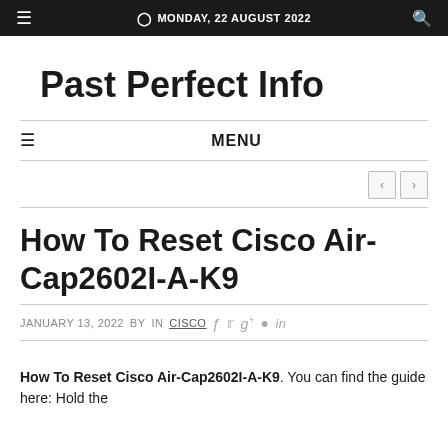≡  ⊙ MONDAY, 22 AUGUST 2022  🔍
Past Perfect Info
≡ MENU
< >
How To Reset Cisco Air-Cap2602I-A-K9
JANUARY 13, 2022 BY IN CISCO
How To Reset Cisco Air-Cap2602I-A-K9. You can find the guide here: Hold the